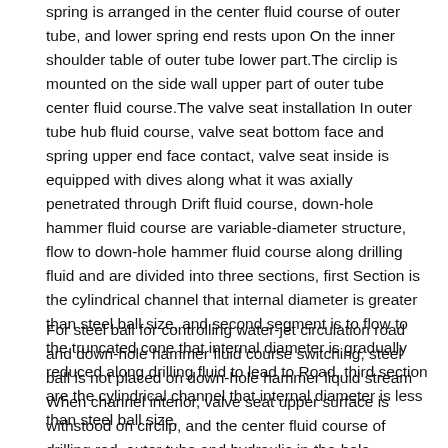spring is arranged in the center fluid course of outer tube, and lower spring end rests upon On the inner shoulder table of outer tube lower part.The circlip is mounted on the side wall upper part of outer tube center fluid course.The valve seat installation In outer tube hub fluid course, valve seat bottom face and spring upper end face contact, valve seat inside is equipped with dives along what it was axially penetrated through Drift fluid course, down-hole hammer fluid course are variable-diameter structure, flow to down-hole hammer fluid course along drilling fluid and are divided into three sections, first Section is the cylindrical channel that internal diameter is greater than steel ball size, and second segment is to flow to the truncated cone that internal diameter is gradually reduced along drilling fluid to lead to Road, third section are the cylindrical channel that internal diameter is less than steel ball size,
For steel ball for controlling water-jet circulation road and down-hole hammer fluid course switching, steel ball is not placed on down-hole hammer liquid stream When channel interior, valve seat upper surface is withstood on circlip, and the center fluid course of drilling rod, outer tube and hydraulic in-the-hole hammer is mutual Water-jet